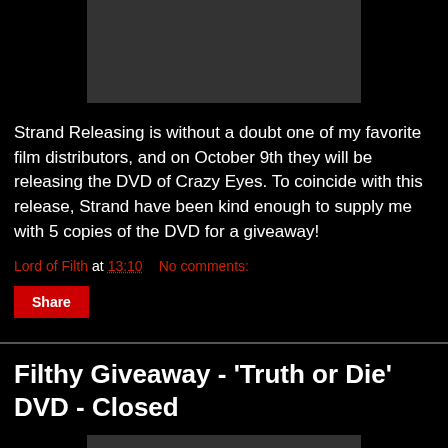[Figure (photo): Dark rectangular image placeholder at top of page]
Strand Releasing is without a doubt one of my favorite film distributors, and on October 9th they will be releasing the DVD of Crazy Eyes. To coincide with this release, Strand have been kind enough to supply me with 5 copies of the DVD for a giveaway!
Lord of Filth at 13:10   No comments:
Share
Filthy Giveaway - 'Truth or Die' DVD - Closed
[Figure (photo): Dark rectangular image placeholder at bottom of page]